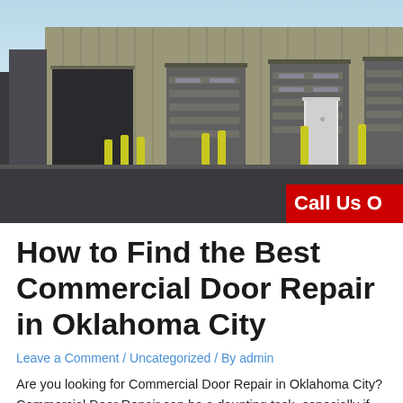[Figure (photo): Photo of a commercial building with multiple large gray roll-up garage/storage doors and yellow bollard posts in front, blue sky in background. A red 'Call Us' banner overlays the bottom-right corner.]
How to Find the Best Commercial Door Repair in Oklahoma City
Leave a Comment / Uncategorized / By admin
Are you looking for Commercial Door Repair in Oklahoma City? Commercial Door Repair can be a daunting task, especially if